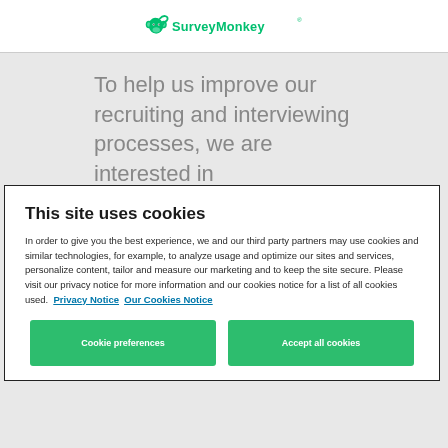SurveyMonkey
To help us improve our recruiting and interviewing processes, we are interested in
This site uses cookies
In order to give you the best experience, we and our third party partners may use cookies and similar technologies, for example, to analyze usage and optimize our sites and services, personalize content, tailor and measure our marketing and to keep the site secure. Please visit our privacy notice for more information and our cookies notice for a list of all cookies used.  Privacy Notice  Our Cookies Notice
Cookie preferences   Accept all cookies